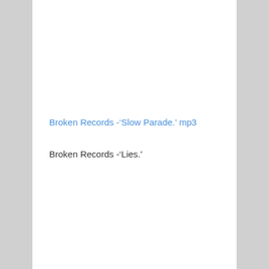Broken Records -‘Slow Parade.’ mp3
Broken Records -‘Lies.’